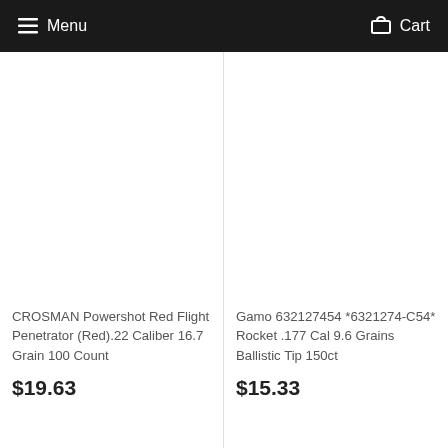Menu  Cart
[Figure (photo): Product image area for CROSMAN Powershot Red Flight Penetrator (empty/white)]
CROSMAN Powershot Red Flight Penetrator (Red).22 Caliber 16.7 Grain 100 Count
$19.63
[Figure (photo): Product image area for Gamo 632127454 *6321274-C54* Rocket (empty/white)]
Gamo 632127454 *6321274-C54* Rocket .177 Cal 9.6 Grains Ballistic Tip 150ct
$15.33